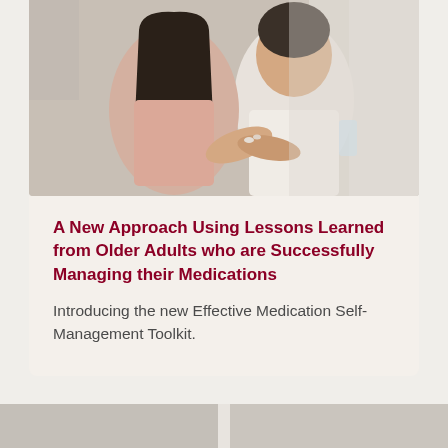[Figure (photo): Two Asian women, a younger woman and an older woman, looking at pills being placed into the older woman's hand. The older woman holds a glass of water. The background shows curtains and a light interior setting.]
A New Approach Using Lessons Learned from Older Adults who are Successfully Managing their Medications
Introducing the new Effective Medication Self-Management Toolkit.